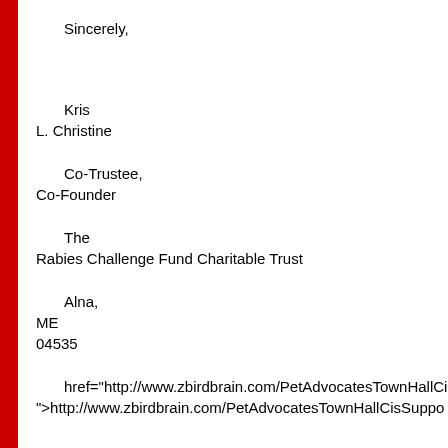Sincerely,
Kris
L. Christine
Co-Trustee,
Co-Founder
The
Rabies Challenge Fund Charitable Trust
Alna,
ME
04535
href="http://www.zbirdbrain.com/PetAdvocatesTownHallCis
">http://www.zbirdbrain.com/PetAdvocatesTownHallCisSuppo
cc:  Dr. W.
Jean Dodds